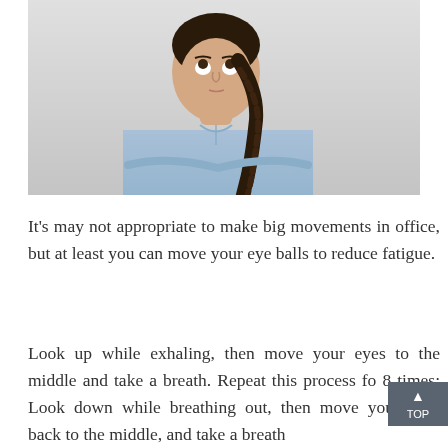[Figure (photo): A young woman with long dark braided hair, wearing a light blue button-up shirt, arms crossed, looking upward and to the side, against a light gray background.]
It's may not appropriate to make big movements in office, but at least you can move your eye balls to reduce fatigue.
Look up while exhaling, then move your eyes to the middle and take a breath. Repeat this process for 8 times; Look down while breathing out, then move your eyes back to the middle, and take a breath.